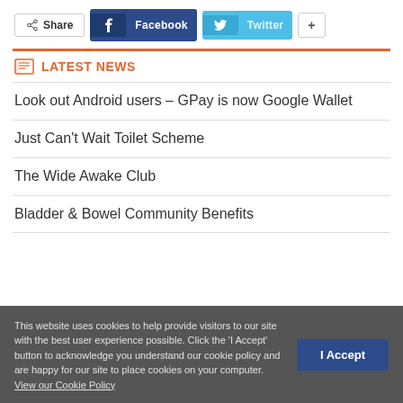[Figure (infographic): Share bar with Share button, Facebook button, Twitter button, and plus button]
LATEST NEWS
Look out Android users – GPay is now Google Wallet
Just Can't Wait Toilet Scheme
The Wide Awake Club
Bladder & Bowel Community Benefits
This website uses cookies to help provide visitors to our site with the best user experience possible. Click the 'I Accept' button to acknowledge you understand our cookie policy and are happy for our site to place cookies on your computer. View our Cookie Policy